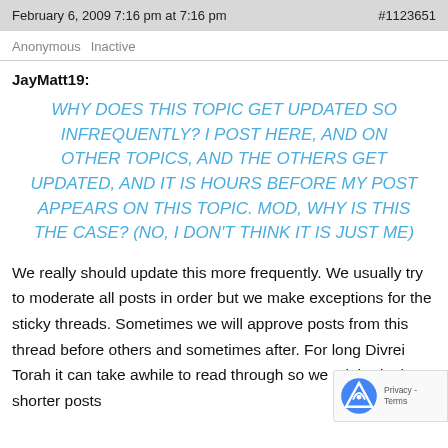February 6, 2009 7:16 pm at 7:16 pm    #1123651
Anonymous  Inactive
JayMatt19:
WHY DOES THIS TOPIC GET UPDATED SO INFREQUENTLY? I POST HERE, AND ON OTHER TOPICS, AND THE OTHERS GET UPDATED, AND IT IS HOURS BEFORE MY POST APPEARS ON THIS TOPIC. MOD, WHY IS THIS THE CASE? (NO, I DON'T THINK IT IS JUST ME)
We really should update this more frequently. We usually try to moderate all posts in order but we make exceptions for the sticky threads. Sometimes we will approve posts from this thread before others and sometimes after. For long Divrei Torah it can take awhile to read through so we might do the shorter posts